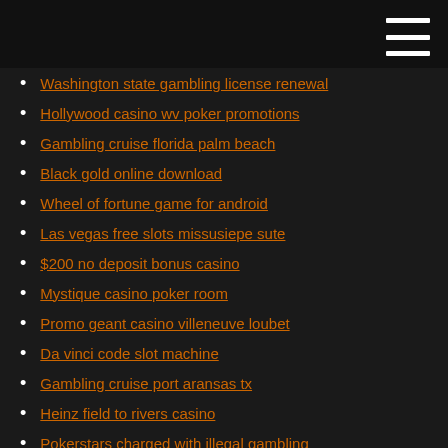Washington state gambling license renewal
Hollywood casino wv poker promotions
Gambling cruise florida palm beach
Black gold online download
Wheel of fortune game for android
Las vegas free slots missusiepe sute
$200 no deposit bonus casino
Mystique casino poker room
Promo geant casino villeneuve loubet
Da vinci code slot machine
Gambling cruise port aransas tx
Heinz field to rivers casino
Pokerstars charged with illegal gambling
Casino near south padre island tx